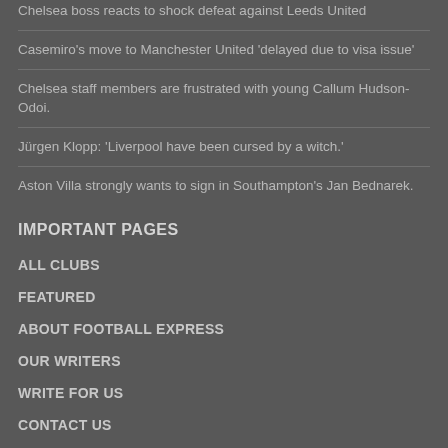Chelsea boss reacts to shock defeat against Leeds United
Casemiro's move to Manchester United 'delayed due to visa issue'
Chelsea staff members are frustrated with young Callum Hudson-Odoi.
Jürgen Klopp: 'Liverpool have been cursed by a witch.'
Aston Villa strongly wants to sign in Southampton's Jan Bednarek.
IMPORTANT PAGES
ALL CLUBS
FEATURED
ABOUT FOOTBALL EXPRESS
OUR WRITERS
WRITE FOR US
CONTACT US